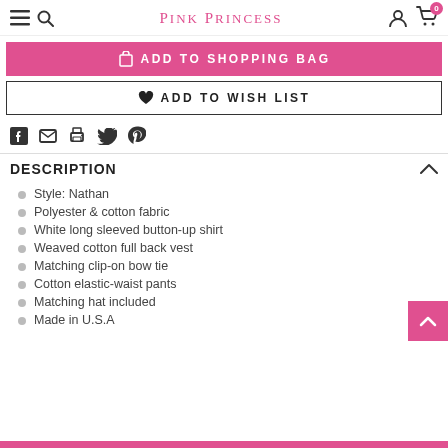PINK PRINCESS
ADD TO SHOPPING BAG
ADD TO WISH LIST
[Figure (infographic): Social share icons: Facebook, Email, Print, Twitter, Pinterest]
DESCRIPTION
Style: Nathan
Polyester & cotton fabric
White long sleeved button-up shirt
Weaved cotton full back vest
Matching clip-on bow tie
Cotton elastic-waist pants
Matching hat included
Made in U.S.A